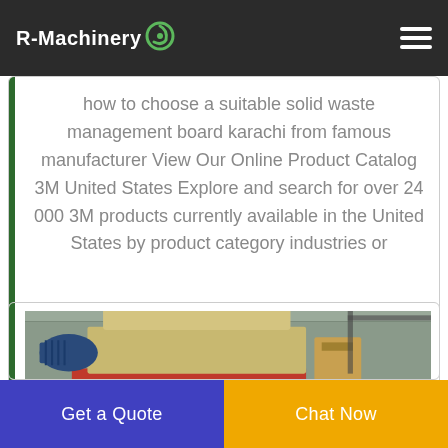R-Machinery
how to choose a suitable solid waste management board karachi from famous manufacturer View Our Online Product Catalog 3M United States Explore and search for over 24 000 3M products currently available in the United States by product category industries or
[Figure (photo): Industrial shredder machine with red frame and beige hopper, mounted on a red stand with an electric motor on the left side, photographed in an industrial warehouse setting.]
Get a Quote
Chat Now